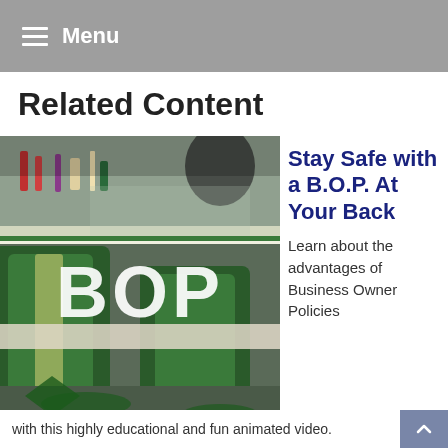Menu
Related Content
[Figure (photo): Photo of a diner interior with green vinyl bar stools and counter, overlaid with large white 'BOP' text]
Stay Safe with a B.O.P. At Your Back
Learn about the advantages of Business Owner Policies with this highly educational and fun animated video.